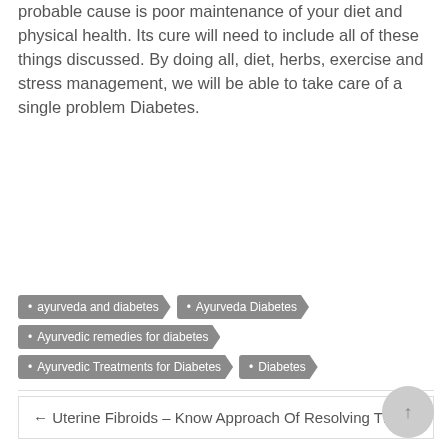probable cause is poor maintenance of your diet and physical health. Its cure will need to include all of these things discussed. By doing all, diet, herbs, exercise and stress management, we will be able to take care of a single problem Diabetes.
ayurveda and diabetes
Ayurveda Diabetes
Ayurvedic remedies for diabetes
Ayurvedic Treatments for Diabetes
Diabetes
← Uterine Fibroids – Know Approach Of Resolving Them!
Alopecia Areata – Is Homeopathy Effective In It? →